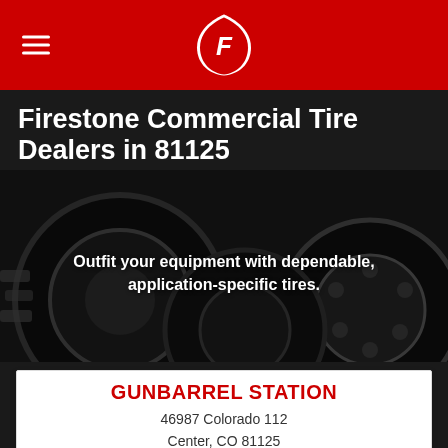Firestone logo header with hamburger menu
Firestone Commercial Tire Dealers in 81125
[Figure (photo): Dark background image of large commercial and agricultural tires with a semi-transparent overlay]
Outfit your equipment with dependable, application-specific tires.
GUNBARREL STATION
46987 Colorado 112
Center, CO 81125
GET A QUOTE